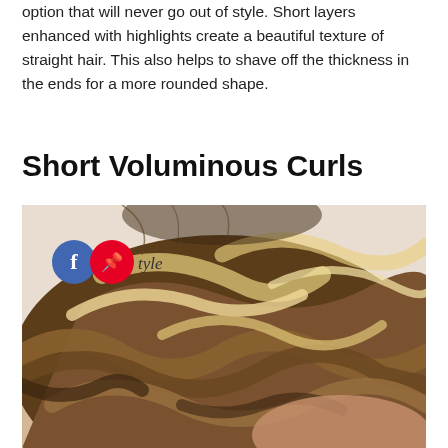option that will never go out of style. Short layers enhanced with highlights create a beautiful texture of straight hair. This also helps to shave off the thickness in the ends for a more rounded shape.
Short Voluminous Curls
[Figure (photo): Close-up photo of a person with short voluminous curly/wavy hair with blonde highlights, showing the back and side of the head. Social media share buttons (Facebook and Pinterest) are overlaid in the upper left of the image, along with a script-style watermark text 'style'.]